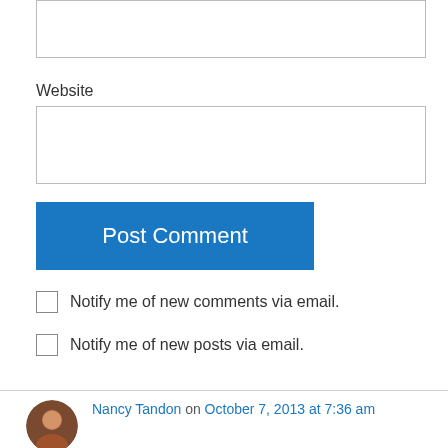[Figure (screenshot): Input box (partial, top of page) for a web form field]
Website
[Figure (screenshot): Text input box for Website field in a comment form]
Post Comment
Notify me of new comments via email.
Notify me of new posts via email.
Nancy Tandon on October 7, 2013 at 7:36 am
I have a 9-year-old son, too. The thing that has worked for him is something you touched on: exposing him to many different kinds of books